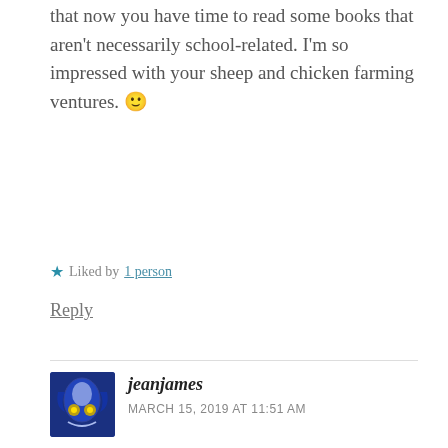that now you have time to read some books that aren't necessarily school-related. I'm so impressed with your sheep and chicken farming ventures. 🙂
★ Liked by 1 person
Reply
[Figure (photo): Avatar image of commenter jeanjames, showing an artistic blue and gold illustration]
jeanjames
MARCH 15, 2019 AT 11:51 AM
Beautiful post about your winter on the farm, and beautiful poem! Cheers to spring!
★ Liked by 1 person